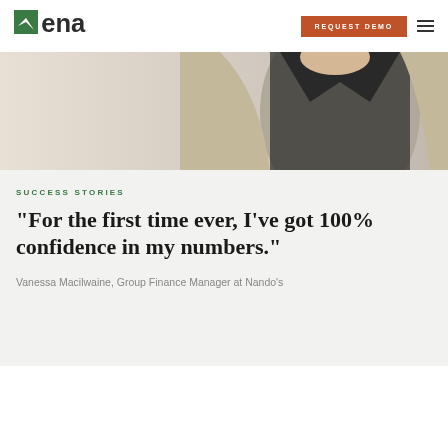Vena — REQUEST DEMO
[Figure (photo): Partial photo of a woman from neck down wearing a black top and beige cardigan, serving as a hero image for a success story]
SUCCESS STORIES
“For the first time ever, I’ve got 100% confidence in my numbers.”
Vanessa Macilwaine, Group Finance Manager at Nando’s